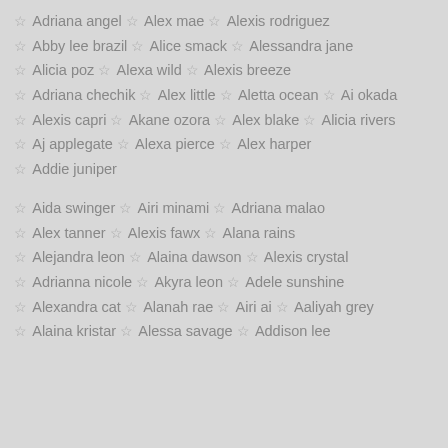Adriana angel  Alex mae  Alexis rodriguez
Abby lee brazil  Alice smack  Alessandra jane
Alicia poz  Alexa wild  Alexis breeze
Adriana chechik  Alex little  Aletta ocean  Ai okada
Alexis capri  Akane ozora  Alex blake  Alicia rivers
Aj applegate  Alexa pierce  Alex harper
Addie juniper
Aida swinger  Airi minami  Adriana malao
Alex tanner  Alexis fawx  Alana rains
Alejandra leon  Alaina dawson  Alexis crystal
Adrianna nicole  Akyra leon  Adele sunshine
Alexandra cat  Alanah rae  Airi ai  Aaliyah grey
Alaina kristar  Alessa savage  Addison lee